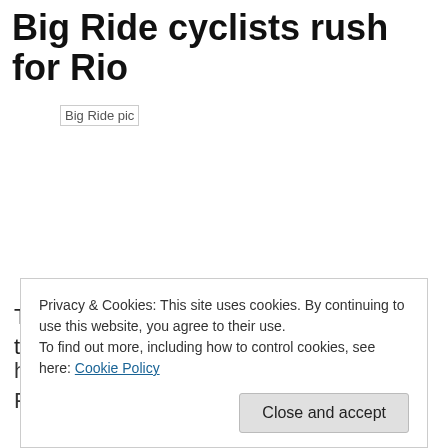Big Ride cyclists rush for Rio
[Figure (photo): Broken image placeholder labeled 'Big Ride pic']
They're off! Cyclists in Medway have hit the road to Rio –
host city for the 2016 Olympics and Paralympics
Privacy & Cookies: This site uses cookies. By continuing to use this website, you agree to their use.
To find out more, including how to control cookies, see here: Cookie Policy
Close and accept